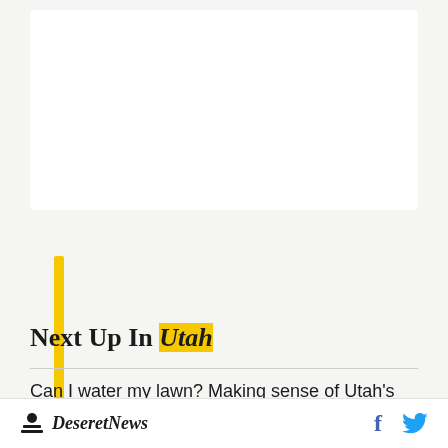[Figure (other): White card area with yellow vertical bar accent on the left side]
Next Up In Utah
Can I water my lawn? Making sense of Utah's water regulations
Opinion: Tired of national politics? Your local
Deseret News — social icons: Facebook, Twitter